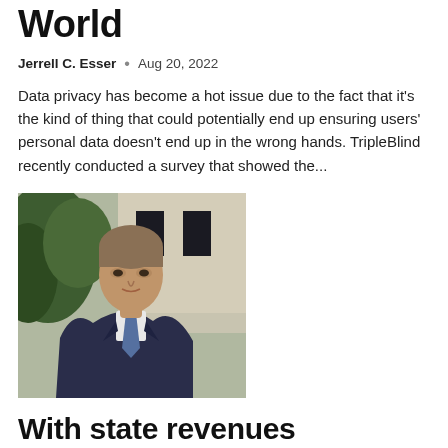World
Jerrell C. Esser  •  Aug 20, 2022
Data privacy has become a hot issue due to the fact that it's the kind of thing that could potentially end up ensuring users' personal data doesn't end up in the wrong hands. TripleBlind recently conducted a survey that showed the...
[Figure (photo): Photo of a man in a dark suit and blue tie, standing outdoors in front of a building with dark shuttered windows and greenery]
With state revenues surprisingly high, Youngkin calls for more tax relief